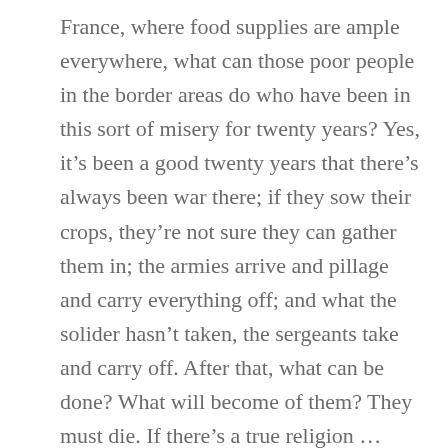France, where food supplies are ample everywhere, what can those poor people in the border areas do who have been in this sort of misery for twenty years? Yes, it’s been a good twenty years that there’s always been war there; if they sow their crops, they’re not sure they can gather them in; the armies arrive and pillage and carry everything off; and what the solider hasn’t taken, the sergeants take and carry off. After that, what can be done? What will become of them? They must die. If there’s a true religion … what did I say, wretched man that I am …! God forgive me! I’m speaking materially. It’s among them, among those poor